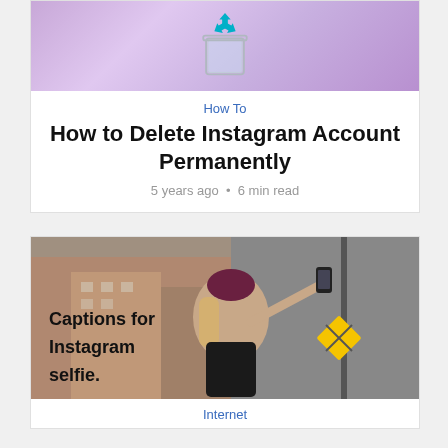[Figure (photo): Recycle bin icon on purple gradient background]
How To
How to Delete Instagram Account Permanently
5 years ago • 6 min read
[Figure (photo): Woman taking a selfie on a city street with text overlay: Captions for Instagram selfie.]
Internet